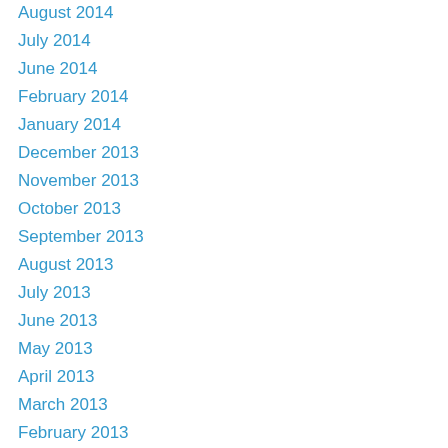August 2014
July 2014
June 2014
February 2014
January 2014
December 2013
November 2013
October 2013
September 2013
August 2013
July 2013
June 2013
May 2013
April 2013
March 2013
February 2013
January 2013
December 2012
November 2012
October 2012